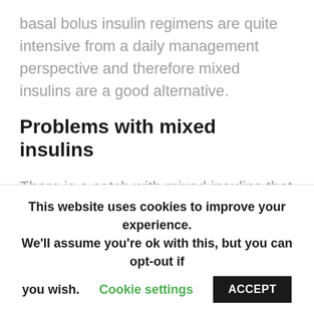basal bolus insulin regimens are quite intensive from a daily management perspective and therefore mixed insulins are a good alternative.
Problems with mixed insulins
There is a catch with mixed insulins that need to be addressed. When you use either rapid acting or intermediate acting insulins by themselves you can adjust them accordingly.
However, with mixed insulins one cannot be adjusted
This website uses cookies to improve your experience. We'll assume you're ok with this, but you can opt-out if you wish.
Cookie settings  ACCEPT